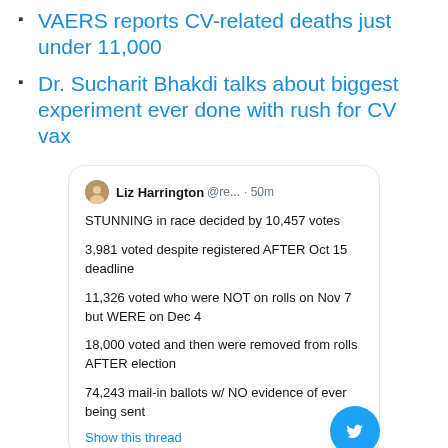VAERS reports CV-related deaths just under 11,000
Dr. Sucharit Bhakdi talks about biggest experiment ever done with rush for CV vax
[Figure (screenshot): Screenshot of a tweet by Liz Harrington (@re... · 50m) stating: STUNNING in race decided by 10,457 votes. 3,981 voted despite registered AFTER Oct 15 deadline. 11,326 voted who were NOT on rolls on Nov 7 but WERE on Dec 4. 18,000 voted and then were removed from rolls AFTER election. 74,243 mail-in ballots w/ NO evidence of ever being sent. Show this thread.]
Info regarding voting in Arizona